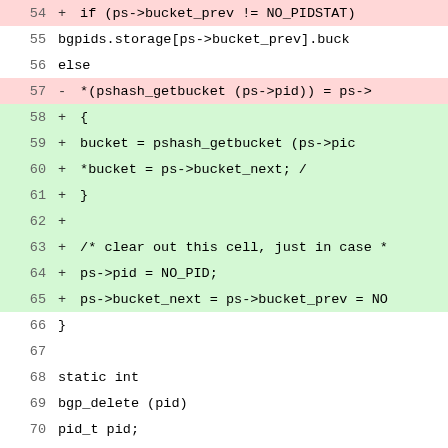[Figure (screenshot): Code diff view showing lines 54-77 of a C source file. Lines with '+' prefix have green background (added), lines with '-' prefix have red/pink background (removed), neutral lines have white background. Shows bgp/process management code including pshash_getbucket calls, bgp_delete function definition, and related logic.]